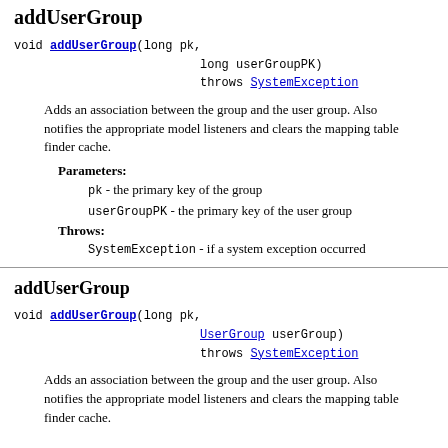addUserGroup
void addUserGroup(long pk,
                  long userGroupPK)
                  throws SystemException
Adds an association between the group and the user group. Also notifies the appropriate model listeners and clears the mapping table finder cache.
Parameters:
  pk - the primary key of the group
  userGroupPK - the primary key of the user group
Throws:
  SystemException - if a system exception occurred
addUserGroup
void addUserGroup(long pk,
                  UserGroup userGroup)
                  throws SystemException
Adds an association between the group and the user group. Also notifies the appropriate model listeners and clears the mapping table finder cache.